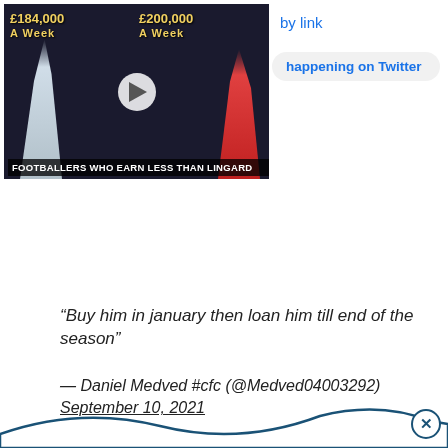[Figure (screenshot): Video thumbnail showing two footballers with salary labels: £184,000 A WEEK and £200,000 A WEEK, with caption FOOTBALLERS WHO EARN LESS THAN LINGARD]
by link
happening on Twitter
“Buy him in january then loan him till end of the season”
— Daniel Medved #cfc (@Medved04003292) September 10, 2021